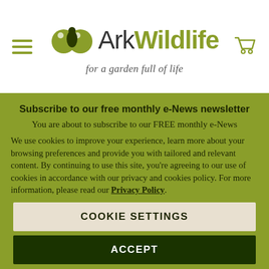[Figure (logo): Ark Wildlife logo with two circular green icons and text 'ArkWildlife for a garden full of life', hamburger menu icon on left, cart icon on right]
Subscribe to our free monthly e-News newsletter
You are about to subscribe to our FREE monthly e-News
We use cookies to improve your experience, learn more about your browsing preferences and provide you with tailored and relevant content. By continuing to use this site, you're agreeing to our use of cookies in accordance with our privacy and cookies policy. For more information, please read our Privacy Policy.
COOKIE SETTINGS
ACCEPT